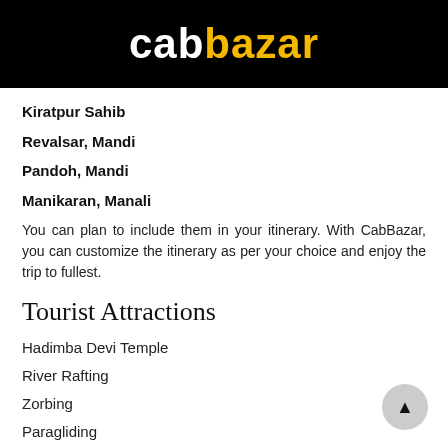[Figure (logo): CabBazar logo — 'cab' in white bold text and 'bazar' in yellow bold text on a black background]
Kiratpur Sahib
Revalsar, Mandi
Pandoh, Mandi
Manikaran, Manali
You can plan to include them in your itinerary. With CabBazar, you can customize the itinerary as per your choice and enjoy the trip to fullest.
Tourist Attractions
Hadimba Devi Temple
River Rafting
Zorbing
Paragliding